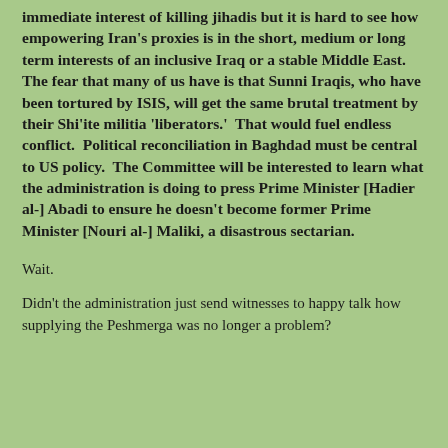immediate interest of killing jihadis but it is hard to see how empowering Iran's proxies is in the short, medium or long term interests of an inclusive Iraq or a stable Middle East.  The fear that many of us have is that Sunni Iraqis, who have been tortured by ISIS, will get the same brutal treatment by their Shi'ite militia 'liberators.'  That would fuel endless conflict.  Political reconciliation in Baghdad must be central to US policy.  The Committee will be interested to learn what the administration is doing to press Prime Minister [Hadier al-] Abadi to ensure he doesn't become former Prime Minister [Nouri al-] Maliki, a disastrous sectarian.
Wait.
Didn't the administration just send witnesses to happy talk how supplying the Peshmerga was no longer a problem?